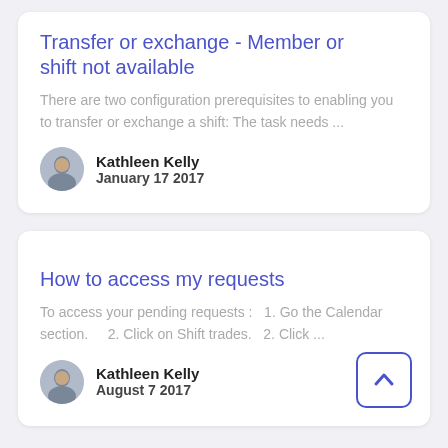Transfer or exchange - Member or shift not available
There are two configuration prerequisites to enabling you to transfer or exchange a shift: The task needs ...
Kathleen Kelly
January 17 2017
How to access my requests
To access your pending requests :   1. Go the Calendar section.     2. Click on Shift trades.   2. Click ...
Kathleen Kelly
August 7 2017